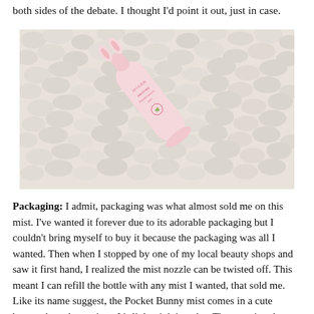both sides of the debate. I thought I'd point it out, just in case.
[Figure (photo): A light pink bunny-shaped mist bottle lying diagonally on a fluffy white/cream textured surface (towel). The bottle has pink text/label printed on it.]
Packaging: I admit, packaging was what almost sold me on this mist. I've wanted it forever due to its adorable packaging but I couldn't bring myself to buy it because the packaging was all I wanted. Then when I stopped by one of my local beauty shops and saw it first hand, I realized the mist nozzle can be twisted off. This meant I can refill the bottle with any mist I wanted, that sold me.  Like its name suggest, the Pocket Bunny mist comes in a cute bunny shaped container. It's light pink in color. The container has little information about the